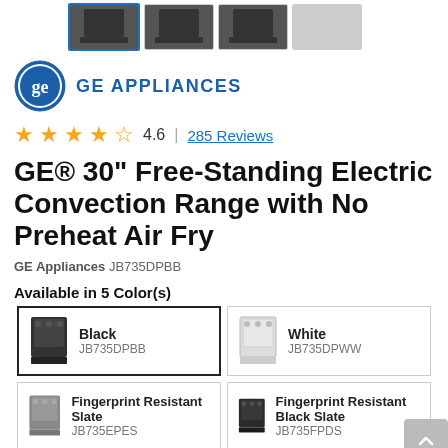[Figure (photo): Row of four product thumbnail images of GE electric range in black, first one selected with blue border]
[Figure (logo): GE Appliances circular blue logo with GE monogram]
GE APPLIANCES
4.6 | 285 Reviews
GE® 30" Free-Standing Electric Convection Range with No Preheat Air Fry
GE Appliances JB735DPBB
Available in 5 Color(s)
| Black
JB735DPBB | White
JB735DPWW |
| Fingerprint Resistant Slate
JB735EPES | Fingerprint Resistant Black Slate
JB735FPDS |